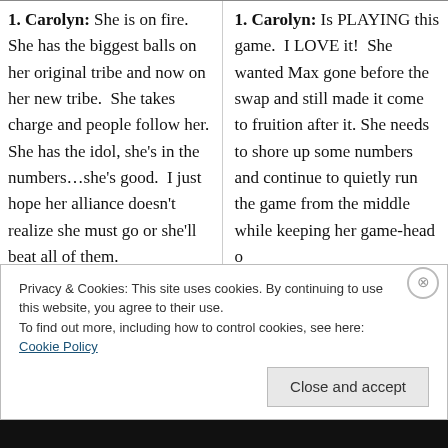1. Carolyn: She is on fire. She has the biggest balls on her original tribe and now on her new tribe. She takes charge and people follow her. She has the idol, she's in the numbers...she's good. I just hope her alliance doesn't realize she must go or she'll beat all of them.
1. Carolyn: Is PLAYING this game. I LOVE it! She wanted Max gone before the swap and still made it come to fruition after it. She needs to shore up some numbers and continue to quietly run the game from the middle while keeping her game-head o...
Privacy & Cookies: This site uses cookies. By continuing to use this website, you agree to their use.
To find out more, including how to control cookies, see here: Cookie Policy